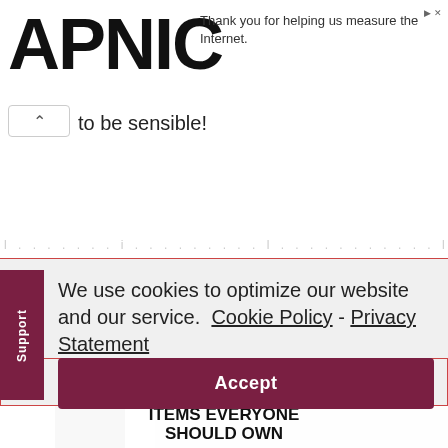APNIC
Thank you for helping us measure the Internet.
to be sensible!
We use cookies to optimize our website and our service.  Cookie Policy - Privacy Statement
Accept
[Figure (photo): Child in kitchen wearing apron, holding kitchen utensils, with adult in background]
37 HOME AND KITCHEN ITEMS EVERYONE SHOULD OWN